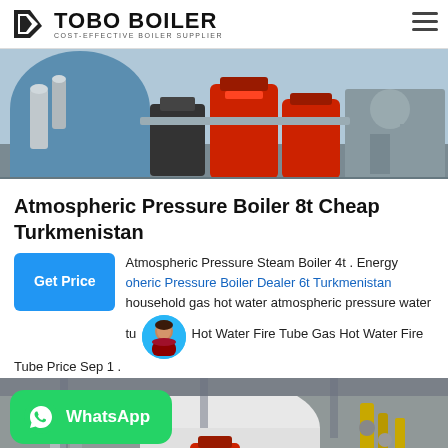TOBO BOILER — COST-EFFECTIVE BOILER SUPPLIER
[Figure (photo): Industrial boilers in a factory — red and black boiler units with pipes and machinery]
Atmospheric Pressure Boiler 8t Cheap Turkmenistan
Atmospheric Pressure Steam Boiler 4t . Energy oheric Pressure Boiler Dealer 6t Turkmenistan household gas hot water atmospheric pressure water tu Hot Water Fire Tube Gas Hot Water Fire Tube Price Sep 1 .
[Figure (photo): Large industrial boilers and red unit inside a boiler room with pipes and valves]
[Figure (other): WhatsApp contact button overlay]